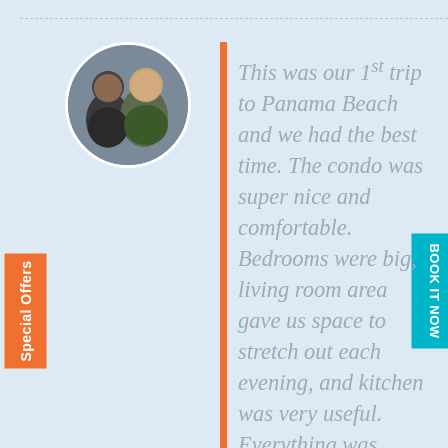[Figure (photo): Circular profile photo of two people (a man and a woman) at what appears to be an indoor event or gathering.]
Special Offers
BOOK IT NOW
This was our 1st trip to Panama Beach and we had the best time. The condo was super nice and comfortable. Bedrooms were big, living room area gave us space to stretch out each evening, and kitchen was very useful. Everything was decorated so nice, and everything we needed in household goods was provided. The